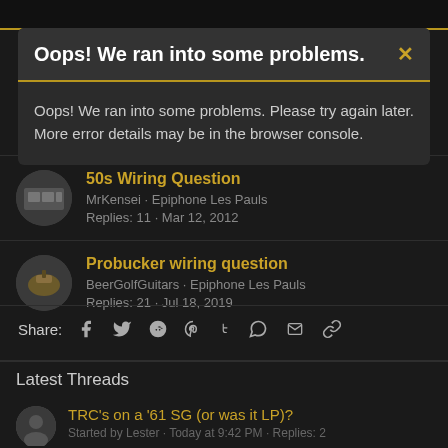Oops! We ran into some problems.
Oops! We ran into some problems. Please try again later. More error details may be in the browser console.
50s Wiring Question
MrKensei · Epiphone Les Pauls
Replies: 11 · Mar 12, 2012
Probucker wiring question
BeerGolfGuitars · Epiphone Les Pauls
Replies: 21 · Jul 18, 2019
Share:
Latest Threads
TRC's on a '61 SG (or was it LP)?
Started by Lester · Today at 9:42 PM · Replies: 2